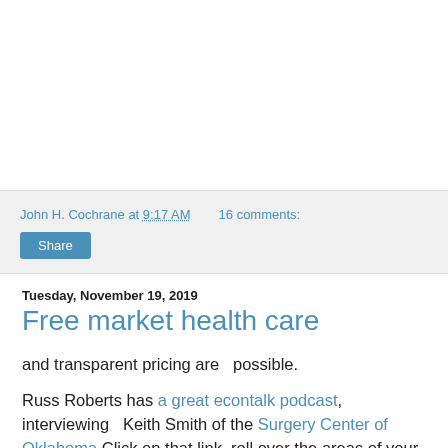John H. Cochrane at 9:17 AM   16 comments:
Share
Tuesday, November 19, 2019
Free market health care
and transparent pricing are  possible.
Russ Roberts has a great econtalk podcast, interviewing  Keith Smith of the Surgery Center of Oklahoma Click on that link, roll over the areas of your body that hurt, and find out exactly how much it will cost to fix them.
No insurance. Pay a preset transparent surprisingly low